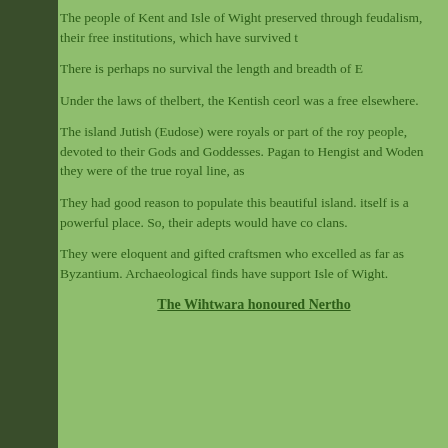The people of Kent and Isle of Wight preserved through feudalism, their free institutions, which have survived to
There is perhaps no survival the length and breadth of E
Under the laws of thelbert, the Kentish ceorl was a free elsewhere.
The island Jutish (Eudose) were royals or part of the roy people, devoted to their Gods and Goddesses. Pagan to Hengist and Woden they were of the true royal line, as
They had good reason to populate this beautiful island. itself is a powerful place. So, their adepts would have co clans.
They were eloquent and gifted craftsmen who excelled as far as Byzantium. Archaeological finds have support Isle of Wight.
The Wihtwara honoured Nertho